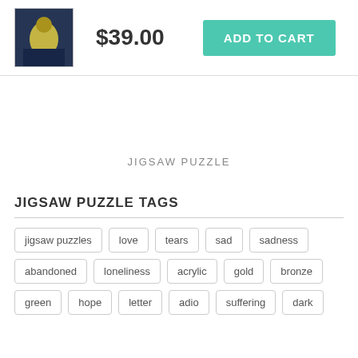[Figure (photo): Small thumbnail image of a painting with yellow figure on dark background]
$39.00
ADD TO CART
JIGSAW PUZZLE
JIGSAW PUZZLE TAGS
jigsaw puzzles
love
tears
sad
sadness
abandoned
loneliness
acrylic
gold
bronze
green
hope
letter
adio
suffering
dark